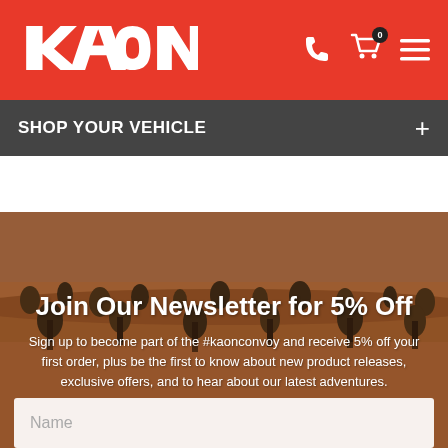[Figure (logo): KAON logo in white on red header bar with phone icon, shopping cart with badge showing 0, and hamburger menu icon]
SHOP YOUR VEHICLE
[Figure (photo): Aerial view of Australian outback desert landscape with red earth and sparse trees]
Join Our Newsletter for 5% Off
Sign up to become part of the #kaonconvoy and receive 5% off your first order, plus be the first to know about new product releases, exclusive offers, and to hear about our latest adventures.
Name